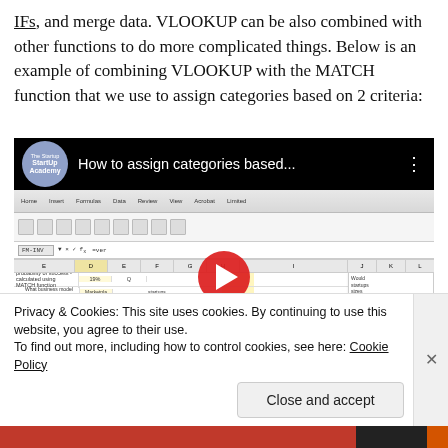IFs, and merge data. VLOOKUP can be also combined with other functions to do more complicated things. Below is an example of combining VLOOKUP with the MATCH function that we use to assign categories based on 2 criteria:
[Figure (screenshot): YouTube video thumbnail showing 'How to assign categories based...' with StartUp Academy logo, overlaid on an Excel spreadsheet screenshot with a red play button in the center]
Privacy & Cookies: This site uses cookies. By continuing to use this website, you agree to their use.
To find out more, including how to control cookies, see here: Cookie Policy
Close and accept